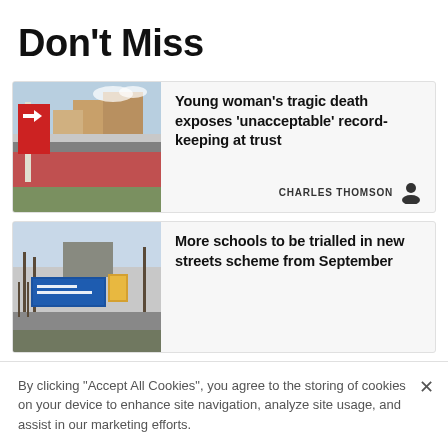Don't Miss
[Figure (photo): Street view outside a hospital with wayfinding signage, red road surface, and brick buildings in the background]
Young woman's tragic death exposes 'unacceptable' record-keeping at trust
CHARLES THOMSON
[Figure (photo): Street view outside a school with a blue welcome sign and warning signs on a suburban street]
More schools to be trialled in new streets scheme from September
By clicking "Accept All Cookies", you agree to the storing of cookies on your device to enhance site navigation, analyze site usage, and assist in our marketing efforts.